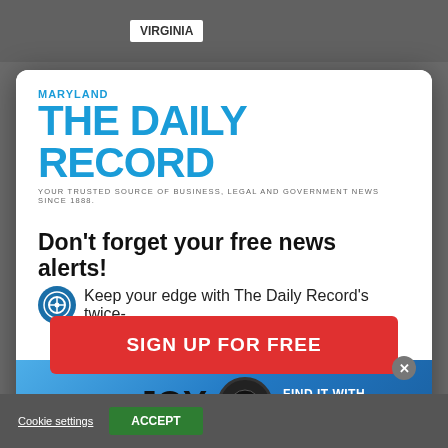VIRGINIA
[Figure (logo): Maryland The Daily Record logo — blue bold masthead with tagline 'YOUR TRUSTED SOURCE OF BUSINESS, LEGAL AND GOVERNMENT NEWS SINCE 1888.']
Don't forget your free news alerts!
Keep your edge with The Daily Record's twice-
[Figure (infographic): Advertisement banner: PARASYMPATHETIC JOY. FIND IT WITH Xen LEARN ABOUT YOUR VAGUS NERVE]
SIGN UP FOR FREE
Cookie settings   ACCEPT